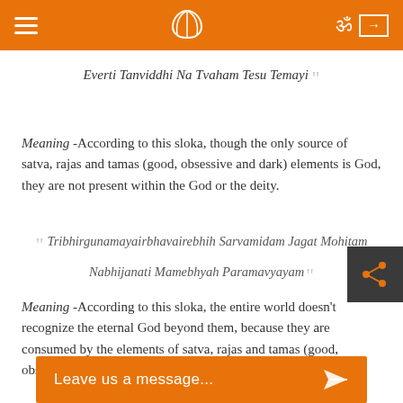Everti Tanviddhi Na Tvaham Tesu Temayi
Meaning -According to this sloka, though the only source of satva, rajas and tamas (good, obsessive and dark) elements is God, they are not present within the God or the deity.
Tribhirgunamayairbhavairebhih Sarvamidam Jagat Mohitam Nabhijanati Mamebhyah Paramavyayam
Meaning -According to this sloka, the entire world doesn't recognize the eternal God beyond them, because they are consumed by the elements of satva, rajas and tamas (good, obssessive and dark).
Leave us a message...